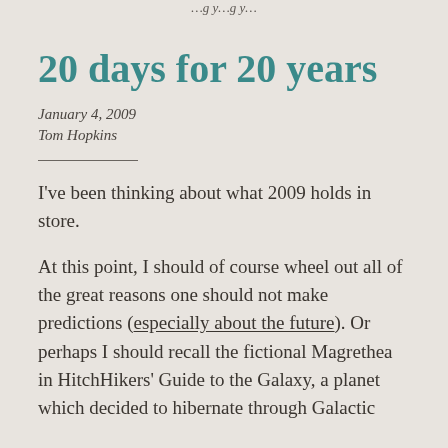…g y…g y…
20 days for 20 years
January 4, 2009
Tom Hopkins
I've been thinking about what 2009 holds in store.
At this point, I should of course wheel out all of the great reasons one should not make predictions (especially about the future). Or perhaps I should recall the fictional Magrethea in HitchHikers' Guide to the Galaxy, a planet which decided to hibernate through Galactic…